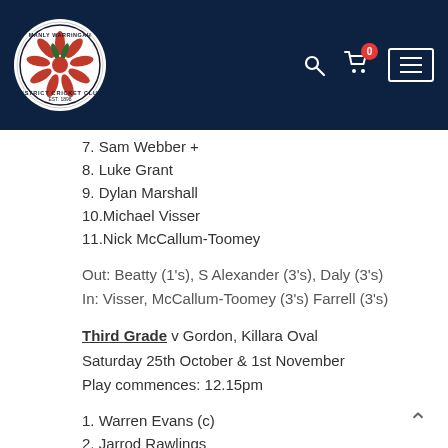[Figure (logo): Manly Warringah District Cricket Club circular logo with red and green flower/protea design on white background]
7. Sam Webber +
8. Luke Grant
9. Dylan Marshall
10.Michael Visser
11.Nick McCallum-Toomey
Out: Beatty (1's), S Alexander (3's), Daly (3's)
In: Visser, McCallum-Toomey (3's) Farrell (3's)
Third Grade v Gordon, Killara Oval
Saturday 25th October & 1st November
Play commences: 12.15pm
1. Warren Evans (c)
2. Jarrod Rawlings
3. Matt Cole